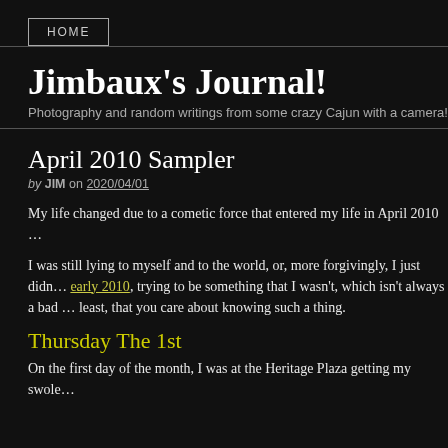HOME
Jimbaux's Journal!
Photography and random writings from some crazy Cajun with a camera!
April 2010 Sampler
by JIM on 2020/04/01
My life changed due to a cometic force that entered my life in April 2010 …
I was still lying to myself and to the world, or, more forgivingly, I just didn… early 2010, trying to be something that I wasn't, which isn't always a bad … least, that you care about knowing such a thing.
Thursday The 1st
On the first day of the month, I was at the Heritage Plaza getting my swole…